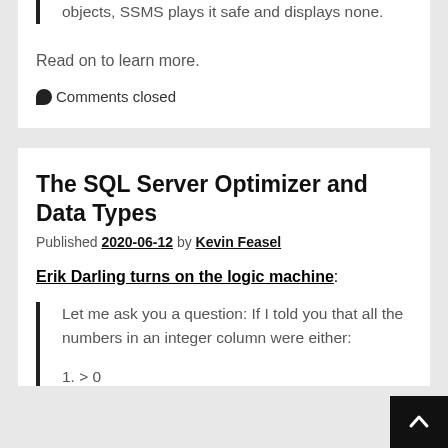objects, SSMS plays it safe and displays none.
Read on to learn more.
Comments closed
The SQL Server Optimizer and Data Types
Published 2020-06-12 by Kevin Feasel
Erik Darling turns on the logic machine:
Let me ask you a question: If I told you that all the numbers in an integer column were either:
1. > 0